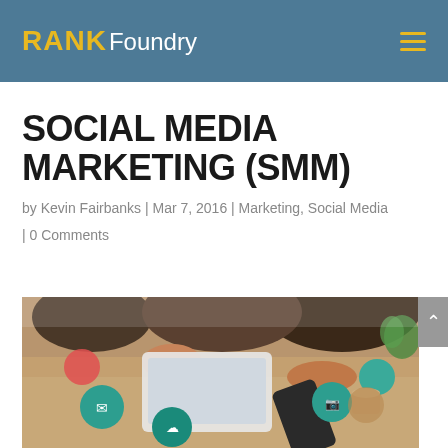RANK Foundry
SOCIAL MEDIA MARKETING (SMM)
by Kevin Fairbanks | Mar 7, 2016 | Marketing, Social Media
| 0 Comments
[Figure (photo): People sitting around a table using tablets and smartphones, with colorful social media icon discs on the table surface.]